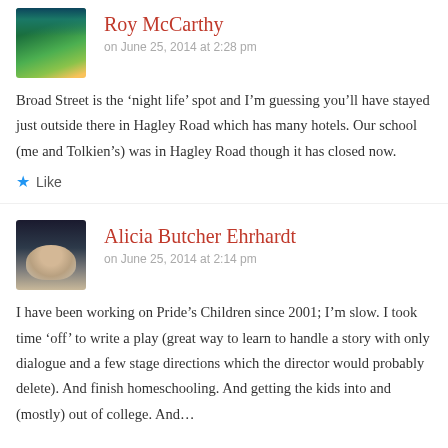[Figure (photo): Avatar thumbnail for Roy McCarthy showing a green landscape with aurora-like sky]
Roy McCarthy
on June 25, 2014 at 2:28 pm
Broad Street is the ‘night life’ spot and I’m guessing you’ll have stayed just outside there in Hagley Road which has many hotels. Our school (me and Tolkien’s) was in Hagley Road though it has closed now.
Like
[Figure (photo): Avatar photo of Alicia Butcher Ehrhardt, a woman with gray/white hair]
Alicia Butcher Ehrhardt
on June 25, 2014 at 2:14 pm
I have been working on Pride’s Children since 2001; I’m slow. I took time ‘off’ to write a play (great way to learn to handle a story with only dialogue and a few stage directions which the director would probably delete). And finish homeschooling. And getting the kids into and (mostly) out of college. And…